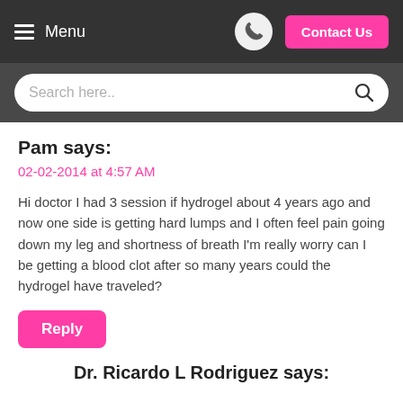Menu | Contact Us
Search here..
Pam says:
02-02-2014 at 4:57 AM
Hi doctor I had 3 session if hydrogel about 4 years ago and now one side is getting hard lumps and I often feel pain going down my leg and shortness of breath I'm really worry can I be getting a blood clot after so many years could the hydrogel have traveled?
Reply
Dr. Ricardo L Rodriguez says: